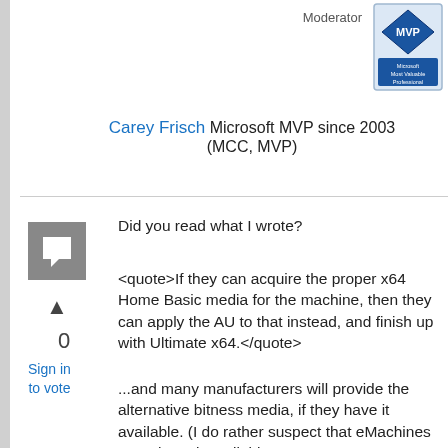Moderator
[Figure (logo): Microsoft MVP badge logo in blue/silver diamond shape]
Carey Frisch Microsoft MVP since 2003 (MCC, MVP)
[Figure (illustration): Reply/comment icon - grey square with speech bubble]
0
Sign in to vote
Did you read what I wrote?
<quote>If they can acquire the proper x64 Home Basic media for the machine, then they can apply the AU to that instead, and finish up with Ultimate x64.</quote>
...and many manufacturers will provide the alternative bitness media, if they have it available. (I do rather suspect that eMachines won't have it available,